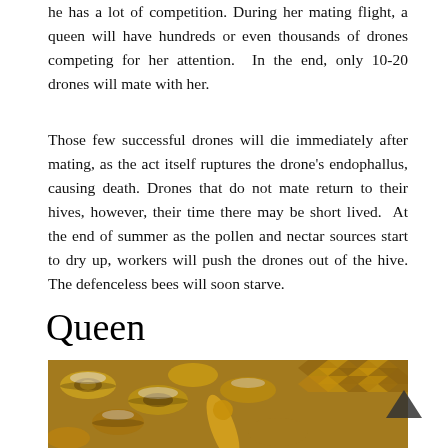he has a lot of competition. During her mating flight, a queen will have hundreds or even thousands of drones competing for her attention. In the end, only 10-20 drones will mate with her.
Those few successful drones will die immediately after mating, as the act itself ruptures the drone's endophallus, causing death. Drones that do not mate return to their hives, however, their time there may be short lived. At the end of summer as the pollen and nectar sources start to dry up, workers will push the drones out of the hive. The defenceless bees will soon starve.
Queen
[Figure (photo): Close-up photograph of honeybees on a honeycomb, with a queen bee visible among the workers.]